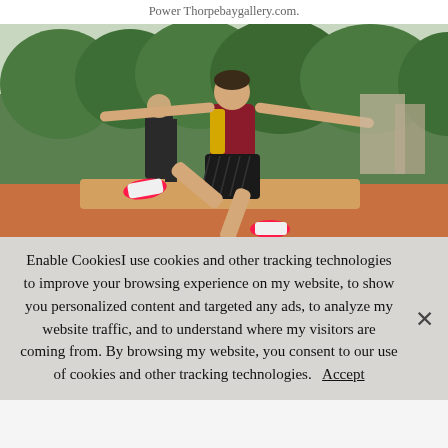Power Thorpebaygallery.com.
[Figure (photo): A male long jumper mid-flight, arms outstretched, wearing a dark red and gold vest and black shorts, with another athlete in the background on a green outdoor athletics track.]
Enable CookiesI use cookies and other tracking technologies to improve your browsing experience on my website, to show you personalized content and targeted any ads, to analyze my website traffic, and to understand where my visitors are coming from. By browsing my website, you consent to our use of cookies and other tracking technologies.   Accept